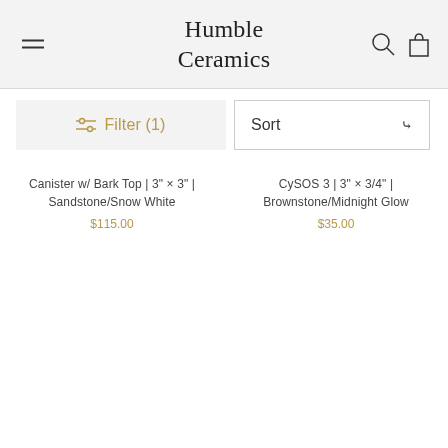Humble Ceramics
Filter (1)
Sort
Canister w/ Bark Top | 3" x 3" | Sandstone/Snow White
$115.00
CySOS 3 | 3" x 3/4" | Brownstone/Midnight Glow
$35.00